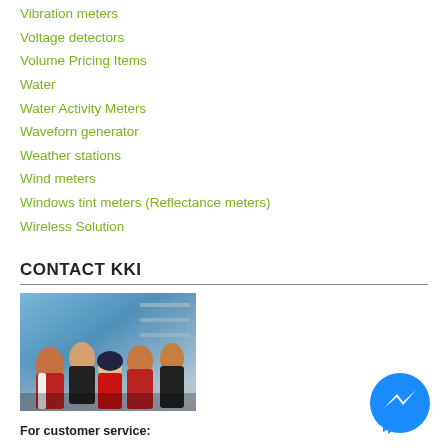Vibration meters
Voltage detectors
Volume Pricing Items
Water
Water Activity Meters
Waveform generator
Weather stations
Wind meters
Windows tint meters (Reflectance meters)
Wireless Solution
CONTACT KKI
[Figure (photo): Group photo of KKI staff members in red uniforms standing together in an office/showroom setting]
For customer service:
Email: Sales@meter.com.my

Contact offices: